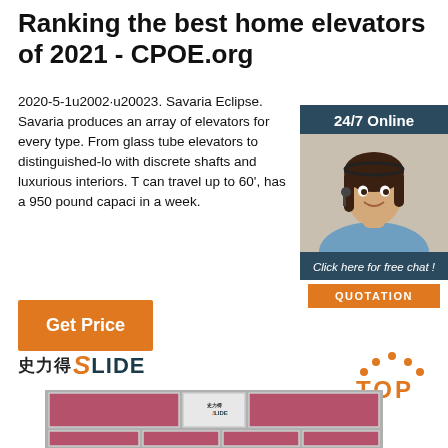Ranking the best home elevators of 2021 - CPOE.org
2020-5-1u2002·u20023. Savaria Eclipse. Savaria produces an array of elevators for every type. From glass tube elevators to distinguished-lo with discrete shafts and luxurious interiors. T can travel up to 60', has a 950 pound capaci in a week.
[Figure (photo): Advertisement box with woman wearing headset, 24/7 Online text, Click here for free chat! text, and QUOTATION orange button]
[Figure (illustration): Orange Get Price button]
[Figure (logo): SLIDE logo with Chinese characters and orange S letter]
[Figure (illustration): TOP badge with orange dots and text]
[Figure (photo): Storefront building image with SLIDE logo and mauve/pink panels]